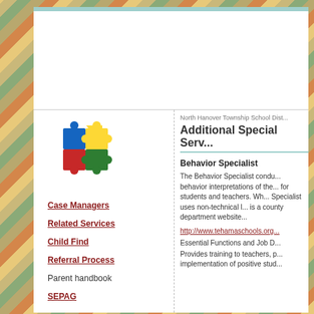[Figure (logo): Colorful puzzle pieces logo with blue, yellow, red and green pieces]
Case Managers
Related Services
Child Find
Referral Process
Parent handbook
SEPAG
North Hanover Township School Dist...
Additional Special Serv...
Behavior Specialist
The Behavior Specialist condu... behavior interpretations of the... for students and teachers. Wh... Specialist uses non-technical l... is a county department website...
http://www.tehamaschools.org...
Essential Functions and Job D...
Provides training to teachers, p... implementation of positive stud...